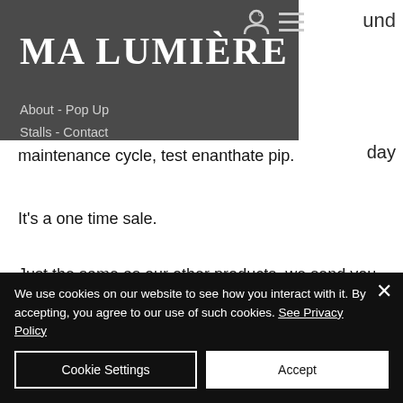[Figure (screenshot): Navigation menu overlay with dark grey background, showing MA LUMIÈRE logo in white serif font, and navigation links: About - Pop Up, Stalls - Contact]
MA LUMIÈRE
About - Pop Up
Stalls - Contact
day maintenance cycle, test enanthate pip.
It's a one time sale.
Just the same as our other products, we send you the T Nation pack, are anabolic steroids legal in canada.
We use cookies on our website to see how you interact with it. By accepting, you agree to our use of such cookies. See Privacy Policy
Cookie Settings
Accept